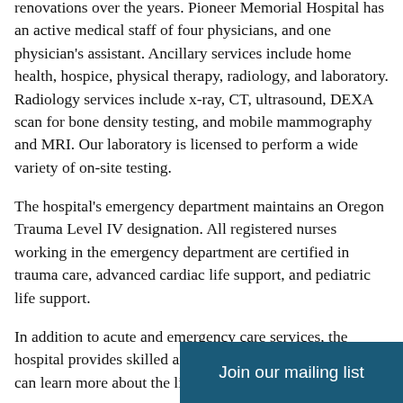renovations over the years. Pioneer Memorial Hospital has an active medical staff of four physicians, and one physician's assistant. Ancillary services include home health, hospice, physical therapy, radiology, and laboratory. Radiology services include x-ray, CT, ultrasound, DEXA scan for bone density testing, and mobile mammography and MRI. Our laboratory is licensed to perform a wide variety of on-site testing.
The hospital's emergency department maintains an Oregon Trauma Level IV designation. All registered nurses working in the emergency department are certified in trauma care, advanced cardiac life support, and pediatric life support.
In addition to acute and emergency care services, the hospital provides skilled and non-skilled nursing care. You can learn more about the links at the right.
Join our mailing list